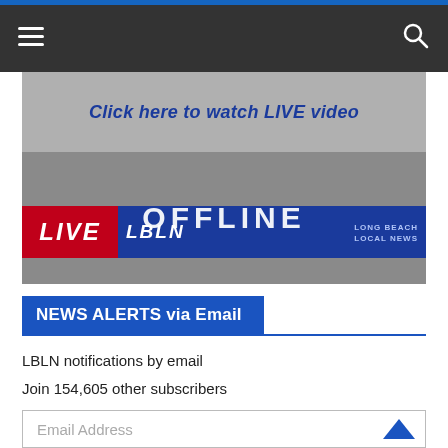Navigation bar with hamburger menu and search icon
[Figure (screenshot): Video player thumbnail showing 'Click here to watch LIVE video' text above a LIVE LBLN Long Beach Local News banner with OFFLINE overlay text]
NEWS ALERTS via Email
LBLN notifications by email
Join 154,605 other subscribers
Email Address